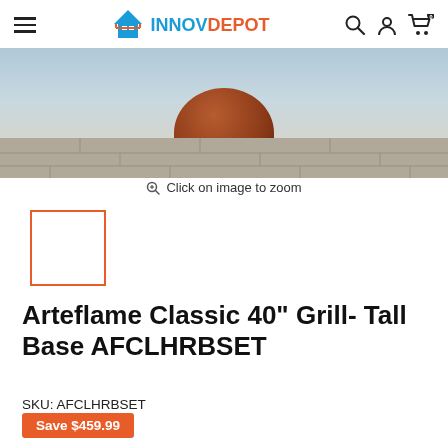INNOVDEPOT
[Figure (photo): Product photo of Arteflame Classic 40 inch Grill with tall base, showing a cylindrical reddish-brown grill on a stone floor background, partially cropped at top.]
Click on image to zoom
[Figure (photo): Thumbnail image placeholder with orange border for Arteflame Classic 40 inch Grill]
Arteflame Classic 40" Grill- Tall Base AFCLHRBSET
SKU: AFCLHRBSET
Save $459.99